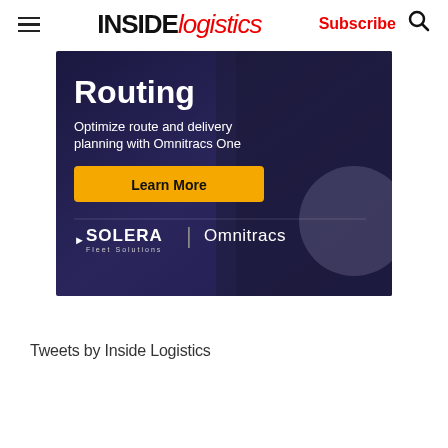INSIDE logistics | Subscribe
[Figure (infographic): Advertisement banner for Omnitracs One routing software by Solera Fleet Solutions. Dark purple background with a person in background. Text reads: Routing - Optimize route and delivery planning with Omnitracs One. Yellow Learn More button. Solera | Omnitracs branding at bottom.]
Tweets by Inside Logistics